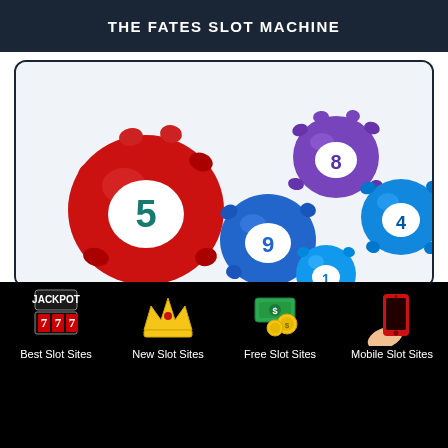THE FATES SLOT MACHINE
[Figure (illustration): Colorful lottery balls with numbers 5, 9, 8, 4, 1 floating/bouncing, on white background]
[Figure (infographic): Navigation menu on black background with four items: Best Slot Sites (jackpot slot machine icon), New Slot Sites (gold crown icon), Free Slot Sites (money/coins icon), Mobile Slot Sites (red phone icon)]